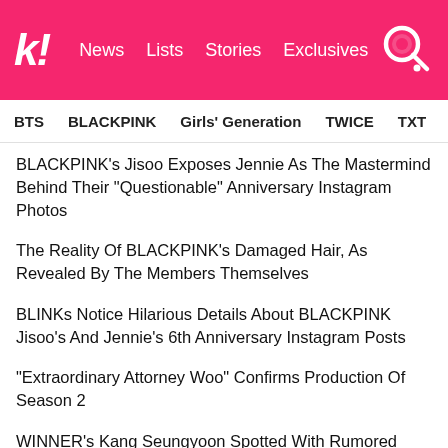Koreaboo! | News | Lists | Stories | Exclusives
BTS | BLACKPINK | Girls' Generation | TWICE | TXT | SEVE
BLACKPINK's Jisoo Exposes Jennie As The Mastermind Behind Their "Questionable" Anniversary Instagram Photos
The Reality Of BLACKPINK's Damaged Hair, As Revealed By The Members Themselves
BLINKs Notice Hilarious Details About BLACKPINK Jisoo's And Jennie's 6th Anniversary Instagram Posts
"Extraordinary Attorney Woo" Confirms Production Of Season 2
WINNER's Kang Seungyoon Spotted With Rumored Girlfriend, YG Entertainment Actress Moon Ji Hyo
NEXT ARTICLE